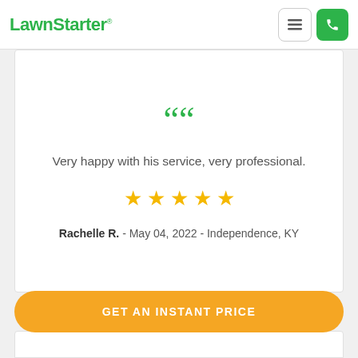LawnStarter®
Very happy with his service, very professional.
★★★★★
Rachelle R. - May 04, 2022 - Independence, KY
GET AN INSTANT PRICE